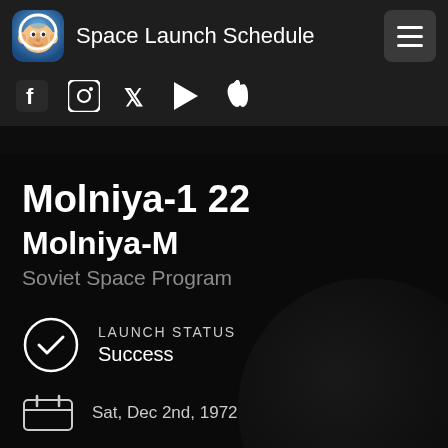Space Launch Schedule
[Figure (screenshot): App logo: cartoon monkey astronaut in circular icon]
[Figure (infographic): Social media icons: Facebook, Instagram, Twitter, Google Play, Apple]
Molniya-1 22
Molniya-M
Soviet Space Program
LAUNCH STATUS
Success
Sat, Dec 2nd, 1972